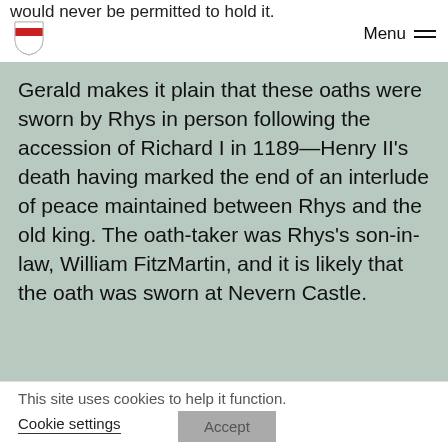would never be permitted to hold it.
Gerald makes it plain that these oaths were sworn by Rhys in person following the accession of Richard I in 1189—Henry II's death having marked the end of an interlude of peace maintained between Rhys and the old king. The oath-taker was Rhys's son-in-law, William FitzMartin, and it is likely that the oath was sworn at Nevern Castle.
This site uses cookies to help it function.
Cookie settings
Accept